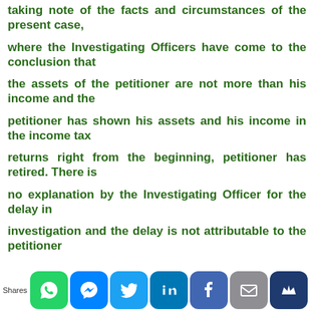taking note of the facts and circumstances of the present case,
where the Investigating Officers have come to the conclusion that
the assets of the petitioner are not more than his income and the
petitioner has shown his assets and his income in the income tax
returns right from the beginning, petitioner has retired. There is
no explanation by the Investigating Officer for the delay in
investigation and the delay is not attributable to the petitioner